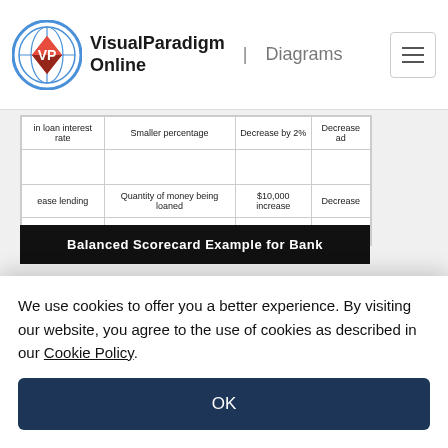VisualParadigm Online | Diagrams
| in loan interest rate | Smaller percentage | Decrease by 2% | Decrease ad |
| --- | --- | --- | --- |
| ease lending | Quantity of money being loaned | $10,000 increase | Decrease |
Balanced Scorecard Example for Bank
| Objective 1 | Measure 1 | Target 1 | Initiative 1 |
| --- | --- | --- | --- |
| Objective 2 | Measure 2 | Target 2 | Initiative 2 |
| Objective 3 | Measure 3 | Target 3 | Initiative 3 |
Basic Balanced Scorecard
We use cookies to offer you a better experience. By visiting our website, you agree to the use of cookies as described in our Cookie Policy.
OK